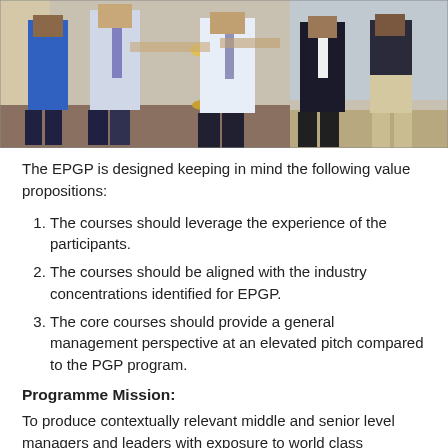[Figure (photo): Group of people standing at a ceremony around a traditional oil lamp (diya), in what appears to be a seminar or conference room setting.]
The EPGP is designed keeping in mind the following value propositions:
The courses should leverage the experience of the participants.
The courses should be aligned with the industry concentrations identified for EPGP.
The core courses should provide a general management perspective at an elevated pitch compared to the PGP program.
Programme Mission:
To produce contextually relevant middle and senior level managers and leaders with exposure to world class management education.